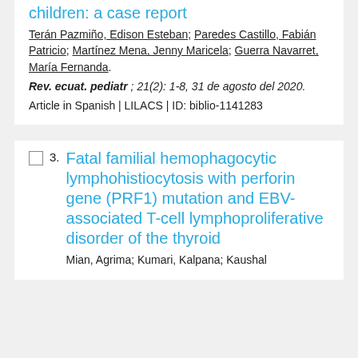children: a case report
Terán Pazmiño, Edison Esteban; Paredes Castillo, Fabián Patricio; Martínez Mena, Jenny Maricela; Guerra Navarret, María Fernanda.
Rev. ecuat. pediatr ; 21(2): 1-8, 31 de agosto del 2020.
Article in Spanish | LILACS | ID: biblio-1141283
Fatal familial hemophagocytic lymphohistiocytosis with perforin gene (PRF1) mutation and EBV-associated T-cell lymphoproliferative disorder of the thyroid
Mian, Agrima; Kumari, Kalpana; Kaushal